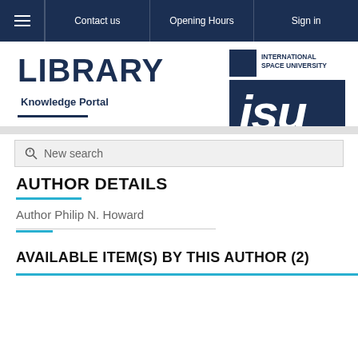≡  Contact us  Opening Hours  Sign in
LIBRARY
Knowledge Portal
[Figure (logo): International Space University ISU logo with text and blue box]
⊕ New search
AUTHOR DETAILS
Author Philip N. Howard
AVAILABLE ITEM(S) BY THIS AUTHOR (2)